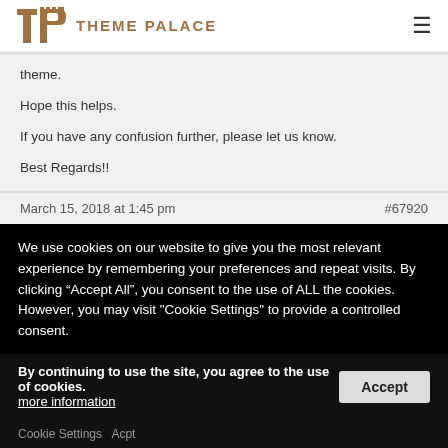THEME PALACE
theme.

Hope this helps.

If you have any confusion further, please let us know.

Best Regards!!
March 15, 2018 at 1:45 pm   #67920
We use cookies on our website to give you the most relevant experience by remembering your preferences and repeat visits. By clicking “Accept All”, you consent to the use of ALL the cookies. However, you may visit "Cookie Settings" to provide a controlled consent.
By continuing to use the site, you agree to the use of cookies.
more information
Accept
Cookie Settings   Accept